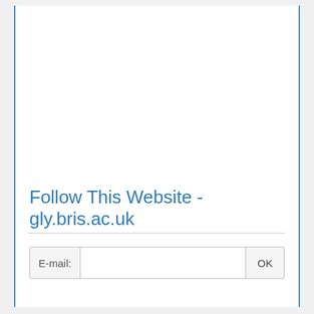Follow This Website - gly.bris.ac.uk
[Figure (screenshot): Email subscription form with E-mail label, input field, and OK button]